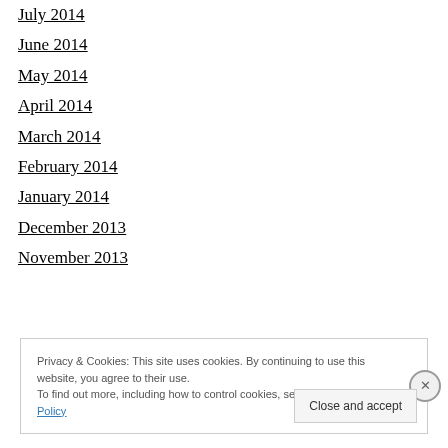July 2014
June 2014
May 2014
April 2014
March 2014
February 2014
January 2014
December 2013
November 2013
Privacy & Cookies: This site uses cookies. By continuing to use this website, you agree to their use.
To find out more, including how to control cookies, see here: Cookie Policy
Close and accept